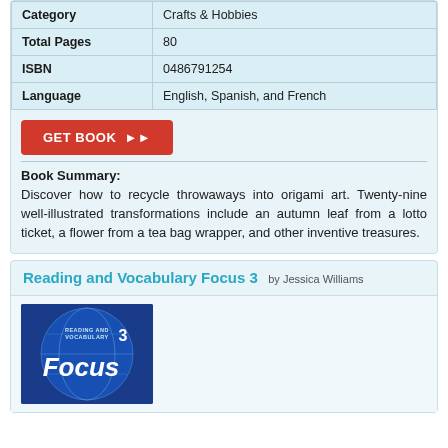| Category | Value |
| --- | --- |
| Category | Crafts & Hobbies |
| Total Pages | 80 |
| ISBN | 0486791254 |
| Language | English, Spanish, and French |
[Figure (other): Red 'GET BOOK' button with double arrow]
Book Summary:
Discover how to recycle throwaways into origami art. Twenty-nine well-illustrated transformations include an autumn leaf from a lotto ticket, a flower from a tea bag wrapper, and other inventive treasures.
Reading and Vocabulary Focus 3 by Jessica Williams
[Figure (photo): Book cover of 'Reading and Vocabulary Focus 3' showing a blue globe/earth design with the word Focus prominently displayed]